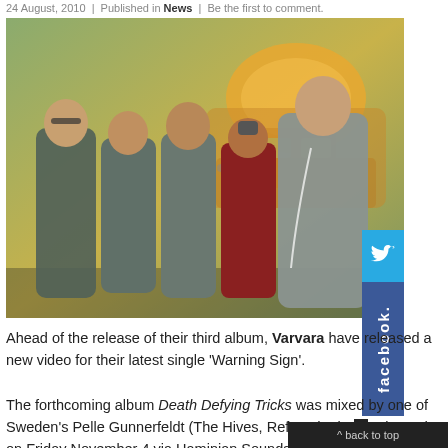24 August, 2010  |  Published in News  |  Be the first to comment.
[Figure (photo): Band photo of Varvara — four members standing in front of a colorful graffiti-painted wall/truck, smiling, dressed in casual hoodies and jackets.]
Ahead of the release of their third album, Varvara have released a new video for their latest single 'Warning Sign'.
The forthcoming album Death Defying Tricks was mixed by one of Sweden's Pelle Gunnerfeldt (The Hives, Refused, Fire… released on Friday November 4 via Haminian Sounds.